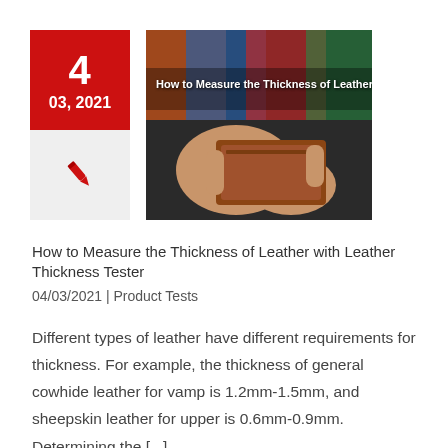[Figure (photo): Hands holding open a brown leather wallet, with colorful background. Overlay text: 'How to Measure the Thickness of Leather']
How to Measure the Thickness of Leather with Leather Thickness Tester
04/03/2021 | Product Tests
Different types of leather have different requirements for thickness. For example, the thickness of general cowhide leather for vamp is 1.2mm-1.5mm, and sheepskin leather for upper is 0.6mm-0.9mm. Determining the [...]